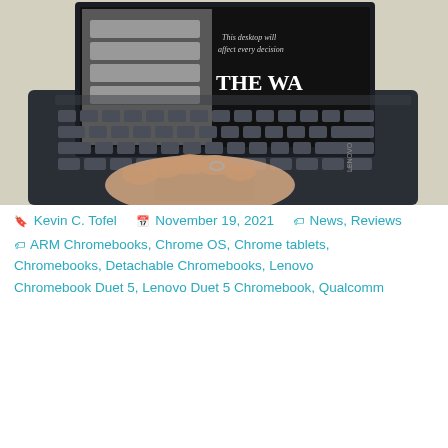[Figure (photo): Photo of a Lenovo Chromebook Duet 5 laptop with a hand resting on the trackpad. The screen shows a dark desktop with 'THE WAY' text visible. The keyboard is dark gray/black and the Lenovo logo is visible on the side.]
🔖 Kevin C. Tofel   📅 November 19, 2021   🏷 News, Reviews 🏷 ARM Chromebooks, Chrome OS, Chrome tablets, Chromebooks, Detachable Chromebooks, Lenovo Chromebook Duet 5, Lenovo Duet 5 Chromebook, Qualcomm